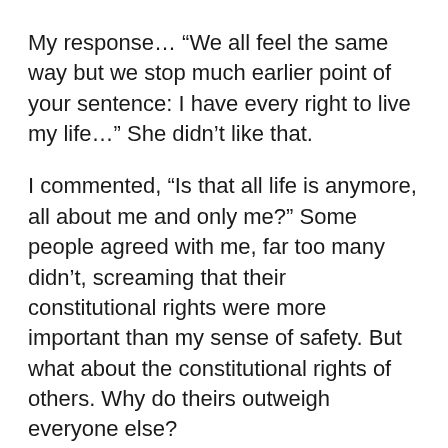My response… “We all feel the same way but we stop much earlier point of your sentence: I have every right to live my life…” She didn’t like that.
I commented, “Is that all life is anymore, all about me and only me?” Some people agreed with me, far too many didn’t, screaming that their constitutional rights were more important than my sense of safety. But what about the constitutional rights of others. Why do theirs outweigh everyone else?
On another group, a woman insisted that all of our problems started when we took prayer out of the schools and demanded that it be put back in. Except prayer was never really apart of the school curriculum. I asked, “does this mean that all students will be …